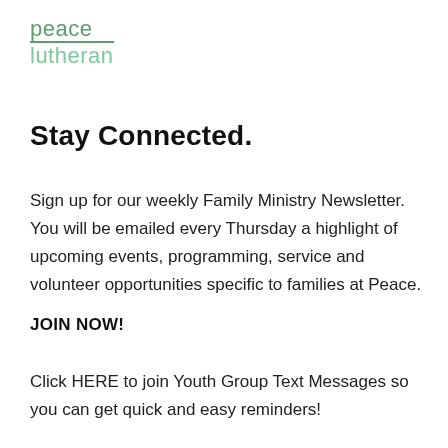[Figure (logo): Peace Lutheran church logo with 'peace' in green with underline and 'lutheran' below in lighter green]
Stay Connected.
Sign up for our weekly Family Ministry Newsletter. You will be emailed every Thursday a highlight of upcoming events, programming, service and volunteer opportunities specific to families at Peace.
JOIN NOW!
Click HERE to join Youth Group Text Messages so you can get quick and easy reminders!